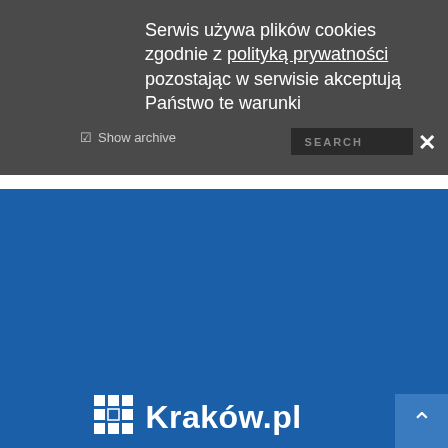Serwis używa plików cookies zgodnie z polityką prywatności pozostając w serwisie akceptują Państwo te warunki
[Figure (logo): Kraków.pl city portal logo with grid icon on blue background]
FRIEND CITIES
KRAKOW HOUSE IN NUREMBERG
INTERNATIONAL ORGANISATIONS
CONSULATES
NEWSLETTER
CONTACT